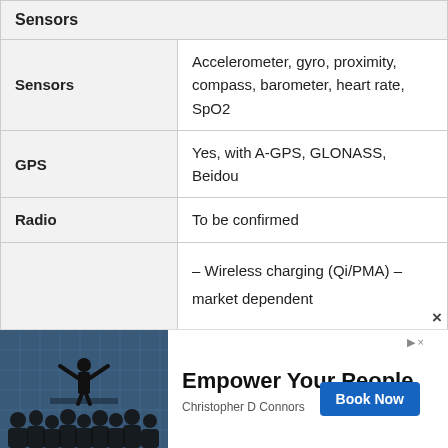| Sensors |  |
| --- | --- |
| Sensors | Accelerometer, gyro, proximity, compass, barometer, heart rate, SpO2 |
| GPS | Yes, with A-GPS, GLONASS, Beidou |
| Radio | To be confirmed |
|  | – Wireless charging (Qi/PMA) – market dependent

– ANT+ support

– S-Voice natural language commands |
[Figure (illustration): Silhouette of a speaker on stage with arms outstretched addressing a crowd. Blue-tinted background with grid pattern.]
Empower Your People
Christopher D Connors
Book Now